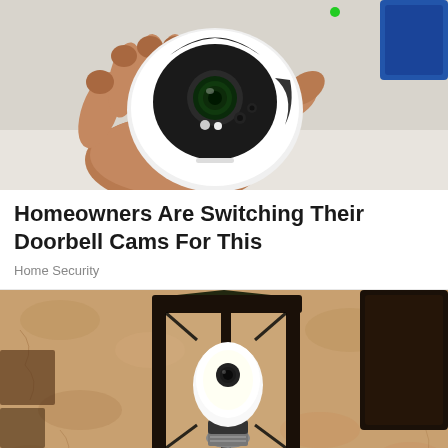[Figure (photo): A hand holding a white spherical security camera with a camera lens and sensors visible, against a light background with a blue object in the upper right corner.]
Homeowners Are Switching Their Doorbell Cams For This
Home Security
[Figure (photo): A close-up of an outdoor wall lantern light fixture mounted on a textured stucco wall, with a white security camera bulb installed inside the lantern housing.]